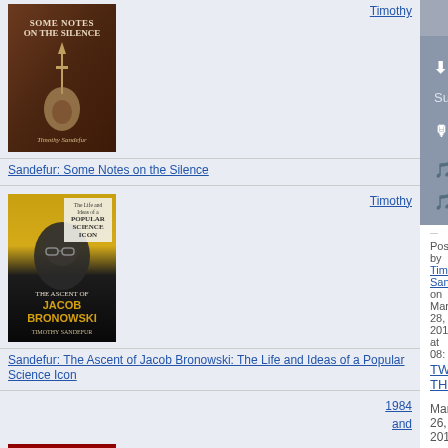[Figure (illustration): Book cover: Some Notes on the Silence by Timothy Sandefur. Dark brown background with a dagger and a portrait medallion.]
Timothy
Sandefur: Some Notes on the Silence
[Figure (illustration): Book cover: The Ascent of Jacob Bronowski: The Life and Ideas of a Popular Science Icon by Timothy Sandefur. Gold and dark cover with a portrait.]
Timothy
Sandefur: The Ascent of Jacob Bronowski: The Life and Ideas of a Popular Science Icon
[Figure (illustration): Book cover: 1984 and... (partial)]
1984 and
⬇ Download Episode
Subscribe:
 Apple Podcasts
 Google Podcasts
 Spotify
Posted by Timothy Sandefur on March 28, 2014 at 08:
TWEET THIS!
March 26, 2014
My testimony before the b... Business today
This morning I testified before the U.S. House... the right to earn a living. You can read my tes...